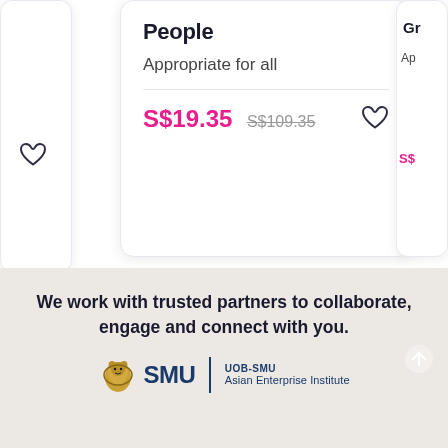People
Appropriate for all
S$19.35  S$109.35
We work with trusted partners to collaborate, engage and connect with you.
[Figure (logo): SMU (Singapore Management University) logo with lion crest, and UOB-SMU Asian Enterprise Institute text]